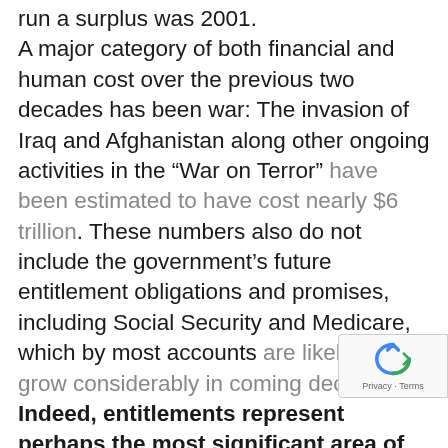run a surplus was 2001. A major category of both financial and human cost over the previous two decades has been war: The invasion of Iraq and Afghanistan along other ongoing activities in the “War on Terror” have been estimated to have cost nearly $6 trillion. These numbers also do not include the government’s future entitlement obligations and promises, including Social Security and Medicare, which by most accounts are likely to grow considerably in coming decades. Indeed, entitlements represent perhaps the most significant area of necessary policy reforms in the coming decades. It makes sense to compare these absolute numbers to the size of the overall economy as well. And since the American economy is so large and has grown so greatly over the last 50 years, the figures for national indebtedness as a portion of gross